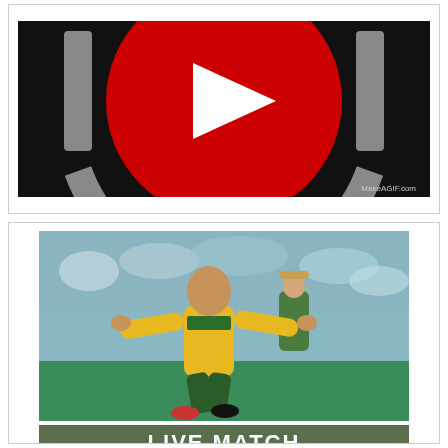[Figure (other): YouTube-style play button logo: large red circle with white triangle play icon in center, on black background, with MakeAGIF.com watermark bottom right]
[Figure (photo): Cricket player in South Africa uniform (green and yellow) celebrating with arms outstretched, another player in background, crowd in stands behind them. Below the photo is a dark olive green banner with white bold text: LIVE MATCH / WATCH NOW]